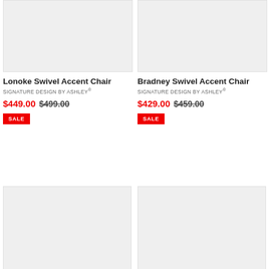[Figure (photo): Product image placeholder for Lonoke Swivel Accent Chair]
[Figure (photo): Product image placeholder for Bradney Swivel Accent Chair]
Lonoke Swivel Accent Chair
SIGNATURE DESIGN BY ASHLEY®
$449.00 $499.00
SALE
Bradney Swivel Accent Chair
SIGNATURE DESIGN BY ASHLEY®
$429.00 $459.00
SALE
[Figure (photo): Product image placeholder (bottom left)]
[Figure (photo): Product image placeholder (bottom right)]